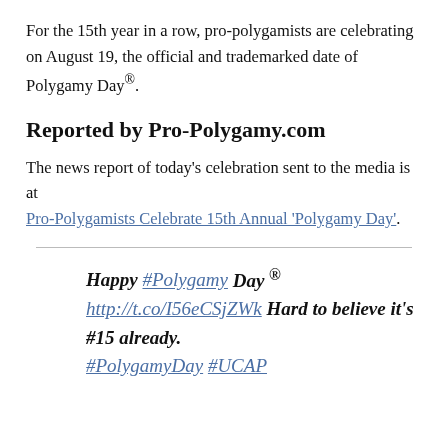For the 15th year in a row, pro-polygamists are celebrating on August 19, the official and trademarked date of Polygamy Day®.
Reported by Pro-Polygamy.com
The news report of today's celebration sent to the media is at Pro-Polygamists Celebrate 15th Annual 'Polygamy Day'.
Happy #Polygamy Day ® http://t.co/I56eCSjZWk Hard to believe it's #15 already. #PolygamyDay #UCAP